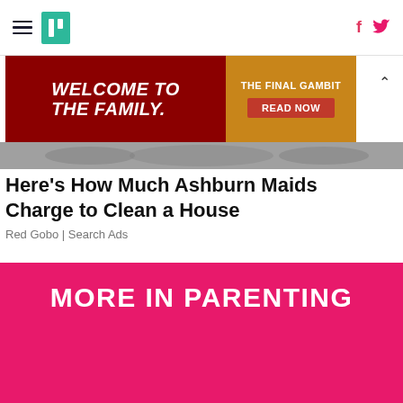Navigation bar with hamburger menu, logo, Facebook and Twitter icons
[Figure (photo): Advertisement banner: red background with 'WELCOME TO THE FAMILY.' text on left, gold/brown background with 'THE FINAL GAMBIT READ NOW' on right]
[Figure (photo): Partial article image strip showing people]
Here's How Much Ashburn Maids Charge to Clean a House
Red Gobo | Search Ads
MORE IN PARENTING
[Figure (photo): Black and white photo of baby strollers on a speckled background]
8 Of The Best Strollers You Can Get At Target